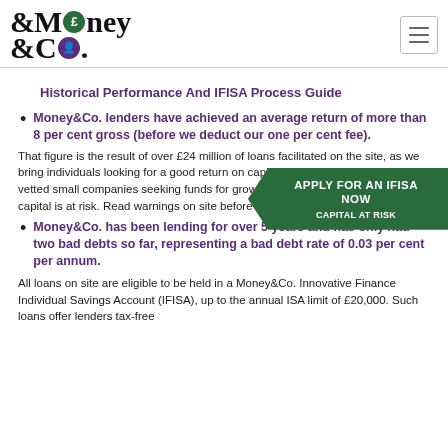Money&Co. logo and navigation
Historical Performance And IFISA Process Guide
Money&Co. lenders have achieved an average return of more than 8 per cent gross (before we deduct our one per cent fee).
That figure is the result of over £24 million of loans facilitated on the site, as we bring individuals looking for a good return on capital together with carefully vetted small companies seeking funds for growth. Bear in mind that lenders' capital is at risk. Read warnings on site before committing capital.
Money&Co. has been lending for over 5 years and has only had two bad debts so far, representing a bad debt rate of 0.03 per cent per annum.
All loans on site are eligible to be held in a Money&Co. Innovative Finance Individual Savings Account (IFISA), up to the annual ISA limit of £20,000. Such loans offer lenders tax-free